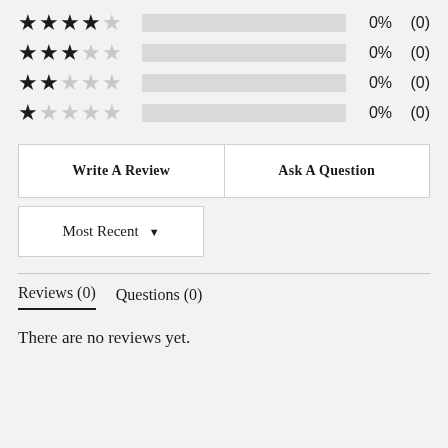[Figure (other): Star rating bars: 4-star row: 0% (0), 3-star row: 0% (0), 2-star row: 0% (0), 1-star row: 0% (0)]
Write A Review
Ask A Question
Most Recent ▼
Reviews (0)   Questions (0)
There are no reviews yet.